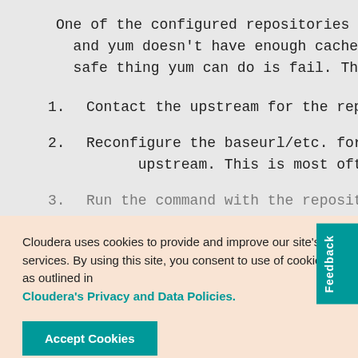One of the configured repositories failed and yum doesn't have enough cached data t safe thing yum can do is fail. There are
1. Contact the upstream for the repos
2. Reconfigure the baseurl/etc. for upstream. This is most often usef
3. Run the command with the reposit
Cloudera uses cookies to provide and improve our site's services. By using this site, you consent to use of cookies as outlined in Cloudera's Privacy and Data Policies.
Accept Cookies